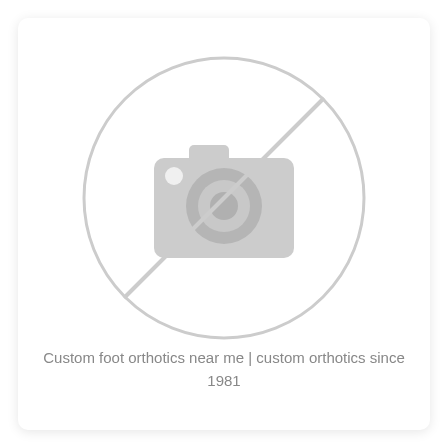[Figure (illustration): Blurred placeholder image showing a camera icon with a diagonal line through it inside a circle, indicating no image available. The icon is light gray on a white background.]
Custom foot orthotics near me | custom orthotics since 1981